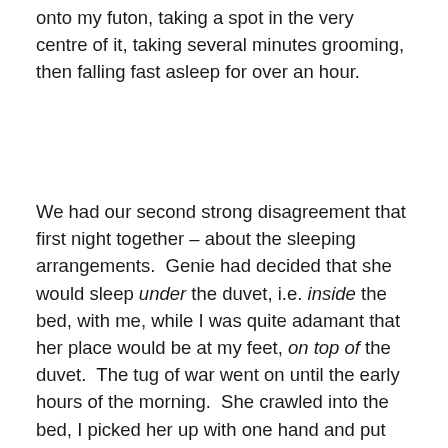onto my futon, taking a spot in the very centre of it, taking several minutes grooming, then falling fast asleep for over an hour.
We had our second strong disagreement that first night together – about the sleeping arrangements. Genie had decided that she would sleep under the duvet, i.e. inside the bed, with me, while I was quite adamant that her place would be at my feet, on top of the duvet. The tug of war went on until the early hours of the morning. She crawled into the bed, I picked her up with one hand and put her down over the duvet. She crawled back in, and I took her back out. When I finally fell asleep, I woke up because something was tugging at the strap of my nightgown. Genie was finding it highly entertaining to bite at my strap, pull it away from my shoulder, then let it go so it would spring back against my skin. Over, and over again. I